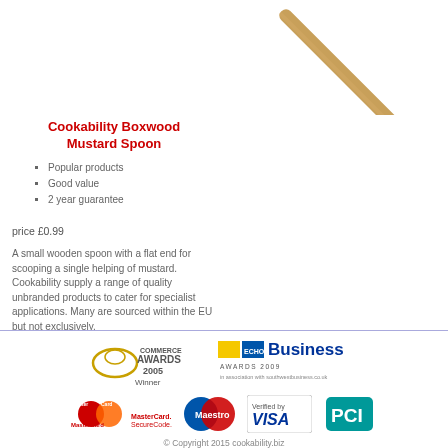[Figure (photo): Wooden mustard spoon angled diagonally, showing handle portion against white background]
Cookability Boxwood Mustard Spoon
Popular products
Good value
2 year guarantee
price £0.99
A small wooden spoon with a flat end for scooping a single helping of mustard. Cookability supply a range of quality unbranded products to cater for specialist applications. Many are sourced within the EU but not exclusively.
[Figure (logo): Commerce Awards 2005 Winner logo]
[Figure (logo): Business Awards 2009 in association with southwestbusiness.co.uk logo]
[Figure (logo): MasterCard SecureCode logo]
[Figure (logo): Maestro logo]
[Figure (logo): Verified by VISA logo]
[Figure (logo): PCI logo]
© Copyright 2015 cookability.biz